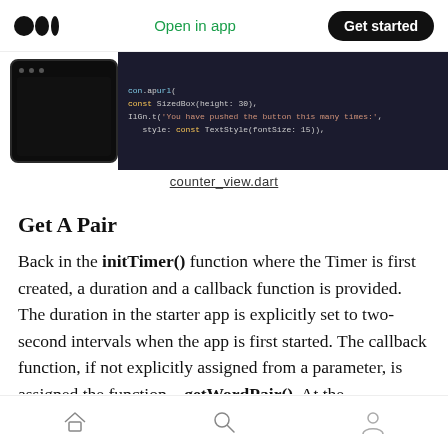Open in app  Get started
[Figure (screenshot): Screenshot showing a phone thumbnail and dark code editor panel with Flutter/Dart code lines]
counter_view.dart
Get A Pair
Back in the initTimer() function where the Timer is first created, a duration and a callback function is provided. The duration in the starter app is explicitly set to two-second intervals when the app is first started. The callback function, if not explicitly assigned from a parameter, is assigned the function, _getWordPair(). At the
Home  Search  Profile